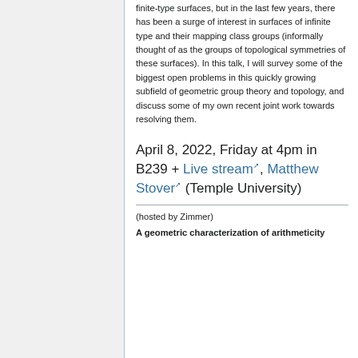finite-type surfaces, but in the last few years, there has been a surge of interest in surfaces of infinite type and their mapping class groups (informally thought of as the groups of topological symmetries of these surfaces). In this talk, I will survey some of the biggest open problems in this quickly growing subfield of geometric group theory and topology, and discuss some of my own recent joint work towards resolving them.
April 8, 2022, Friday at 4pm in B239 + Live stream, Matthew Stover (Temple University)
(hosted by Zimmer)
A geometric characterization of arithmeticity